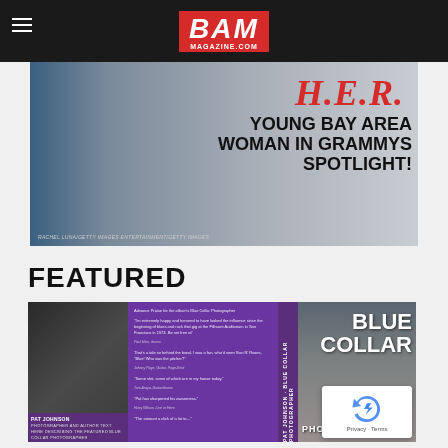BAM MAGAZINE.COM
[Figure (photo): Hero banner image for BAM Magazine featuring H.E.R. - Young Bay Area Woman in Grammys Spotlight! with credit RACHEL LUNA/GETTY IMAGES ENTERTAINMENT/GETTY IMAGES]
FEATURED
[Figure (photo): Featured image of Pat Johnson Blue Collar Photographer book cover and interior spread with purple design, quotes, and author photo]